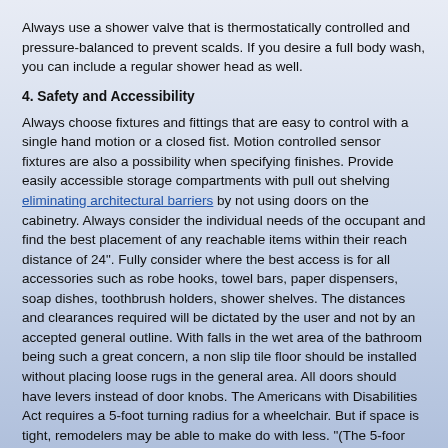Always use a shower valve that is thermostatically controlled and pressure-balanced to prevent scalds. If you desire a full body wash, you can include a regular shower head as well.
4. Safety and Accessibility
Always choose fixtures and fittings that are easy to control with a single hand motion or a closed fist. Motion controlled sensor fixtures are also a possibility when specifying finishes. Provide easily accessible storage compartments with pull out shelving eliminating architectural barriers by not using doors on the cabinetry. Always consider the individual needs of the occupant and find the best placement of any reachable items within their reach distance of 24". Fully consider where the best access is for all accessories such as robe hooks, towel bars, paper dispensers, soap dishes, toothbrush holders, shower shelves. The distances and clearances required will be dictated by the user and not by an accepted general outline. With falls in the wet area of the bathroom being such a great concern, a non slip tile floor should be installed without placing loose rugs in the general area. All doors should have levers instead of door knobs. The Americans with Disabilities Act requires a 5-foot turning radius for a wheelchair. But if space is tight, remodelers may be able to make do with less. "(The 5-foor turning radius) may not always be needed, especially with an electric chair, which will easily turn in a tighter space.
5. Lighting